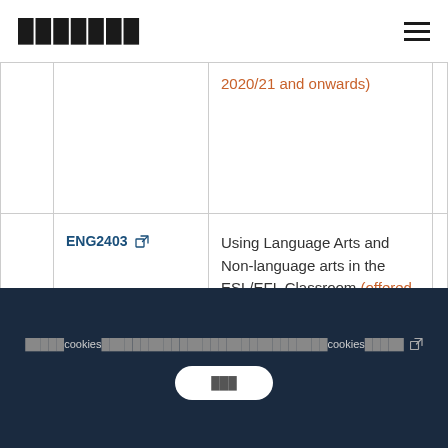███████
|  |  | 2020/21 and onwards) |  |
|  | ENG2403 ↗ | Using Language Arts and Non-language arts in the ESL/EFL Classroom (offered from 2020/21 |  |
█████cookies██████████████████████████cookies█████ ↗
███